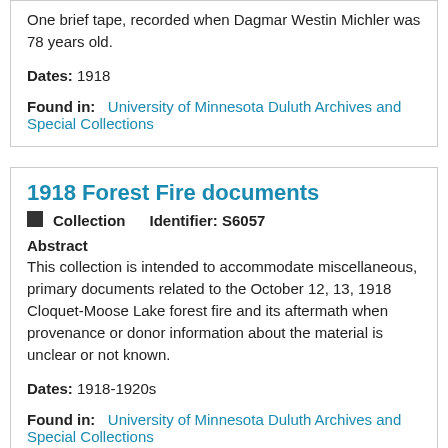One brief tape, recorded when Dagmar Westin Michler was 78 years old.
Dates: 1918
Found in: University of Minnesota Duluth Archives and Special Collections
1918 Forest Fire documents
Collection   Identifier: S6057
Abstract
This collection is intended to accommodate miscellaneous, primary documents related to the October 12, 13, 1918 Cloquet-Moose Lake forest fire and its aftermath when provenance or donor information about the material is unclear or not known.
Dates: 1918-1920s
Found in: University of Minnesota Duluth Archives and Special Collections